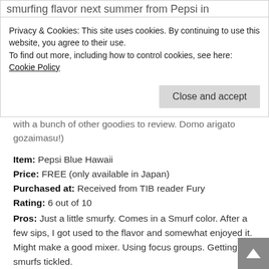smurfing flavor next summer from Pepsi in
Privacy & Cookies: This site uses cookies. By continuing to use this website, you agree to their use.
To find out more, including how to control cookies, see here: Cookie Policy
with a bunch of other goodies to review. Domo arigato gozaimasu!)
Item: Pepsi Blue Hawaii
Price: FREE (only available in Japan)
Purchased at: Received from TIB reader Fury
Rating: 6 out of 10
Pros: Just a little smurfy. Comes in a Smurf color. After a few sips, I got used to the flavor and somewhat enjoyed it. Might make a good mixer. Using focus groups. Getting my smurfs tickled.
Cons: Pineapple and lemon flavor was smurfing